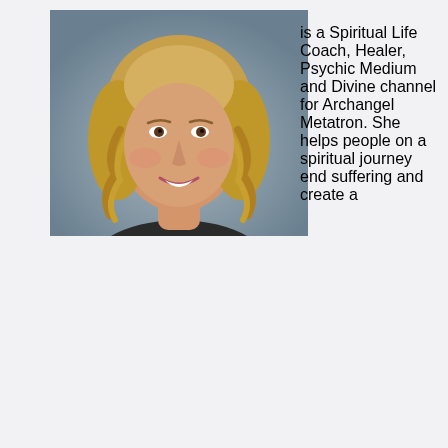[Figure (photo): Headshot photo of a smiling woman with wavy blonde hair, wearing a dark necklace, against a neutral background.]
is a Spiritual Life Coach, Healer, Psychic Medium and Divine channel for Archangel Metatron. She helps people on a spiritual journey end suffering and create a